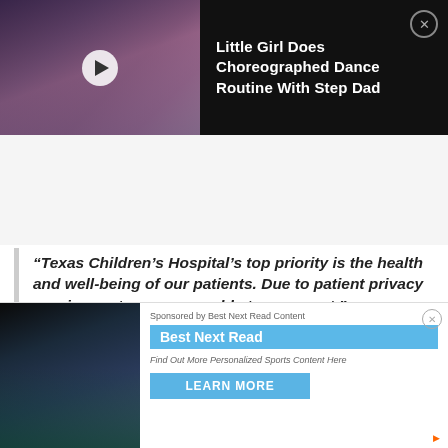[Figure (screenshot): Video thumbnail showing a dance scene with play button, titled 'Little Girl Does Choreographed Dance Routine With Step Dad' on dark background]
"Texas Children's Hospital's top priority is the health and well-being of our patients. Due to patient privacy requirements, we are unable to comment."
[Figure (screenshot): Advertisement banner: Best Next Read Content ad with football player photo, 'Find Out More Personalized Sports Content Here' and LEARN MORE button]